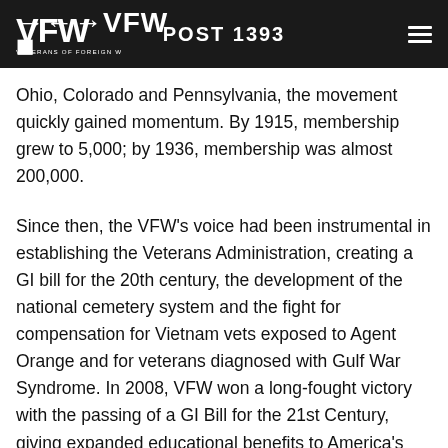VFW VETERANS OF FOREIGN WARS POST 1393
Ohio, Colorado and Pennsylvania, the movement quickly gained momentum. By 1915, membership grew to 5,000; by 1936, membership was almost 200,000.
Since then, the VFW's voice had been instrumental in establishing the Veterans Administration, creating a GI bill for the 20th century, the development of the national cemetery system and the fight for compensation for Vietnam vets exposed to Agent Orange and for veterans diagnosed with Gulf War Syndrome. In 2008, VFW won a long-fought victory with the passing of a GI Bill for the 21st Century, giving expanded educational benefits to America's active-duty service members, and members of the